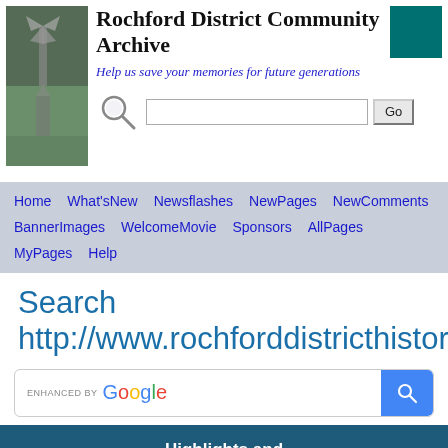Rochford District Community Archive
Help us save your memories for future generations
Go
Home What'sNew Newsflashes NewPages NewComments BannerImages WelcomeMovie Sponsors AllPages MyPages Help
Search
http://www.rochforddistricthistory.org.uk/
ENHANCED BY Google
Highlights and
Subject Index
[Figure (photo): Two small thumbnail images at the bottom of the page, partially cut off]
[Figure (photo): Historical photo thumbnail on the left side]
[Figure (photo): Historical photo thumbnail in the middle]